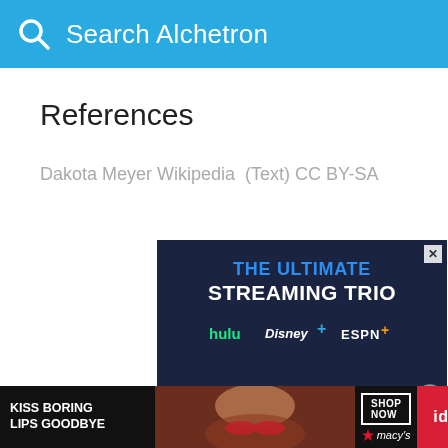Search Alchetron
References
Dakota Meyer Wikipedia  (Text) CC BY-SA
[Figure (screenshot): Advertisement banner for 'The Ultimate Streaming Trio' featuring Hulu, Disney+, and ESPN+ logos on a dark navy background, with a 'GET THE DISNEY BUNDLE' call-to-action button.]
[Figure (screenshot): Bottom banner advertisement: 'KISS BORING LIPS GOODBYE' with a woman's face, 'SHOP NOW' button, Macy's star logo, and a red 'id-19' pill on the right.]